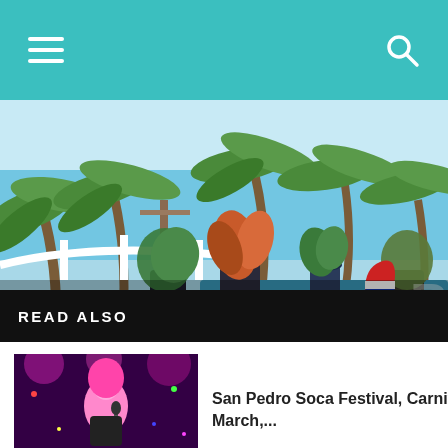Navigation bar with hamburger menu and search icon
[Figure (photo): Tropical beachfront property with palm trees, blue ocean, white railing, potted plants, and a pool. RE/MAX logo visible in lower right portion of image.]
READ ALSO
San Pedro Soca Festival, Carnival Road March,...
Which Should You Choose? A Guide to...
Lovers Of The Leaf, Havana Cigars On...
n Culture and Lifestyle